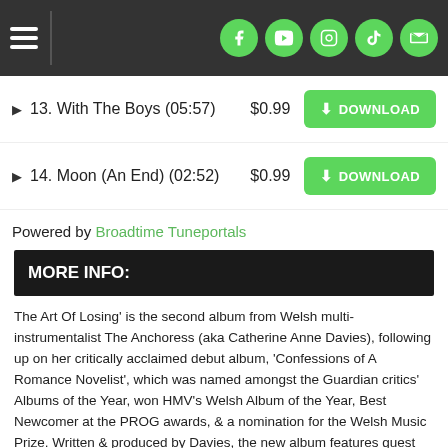Navigation header with hamburger menu and social icons (Facebook, YouTube, Instagram, TikTok, Email)
13. With The Boys (05:57) — $0.99 — DOWNLOAD
14. Moon (An End) (02:52) — $0.99 — DOWNLOAD
Powered by Broadtime Tuneportals
MORE INFO:
The Art Of Losing' is the second album from Welsh multi-instrumentalist The Anchoress (aka Catherine Anne Davies), following up on her critically acclaimed debut album, 'Confessions of A Romance Novelist', which was named amongst the Guardian critics' Albums of the Year, won HMV's Welsh Album of the Year, Best Newcomer at the PROG awards, & a nomination for the Welsh Music Prize. Written & produced by Davies, the new album features guest vocal performances from James Dean Bradfield (Manic Street Preachers) & drums from Sterling Campbell (David Bowie, Duran Duran) along with the mixing talents of Dave Eringa (Manics, Wilko Johnson) & grammy-award winner Mario McNulty (David Bowie, Prince, Laurie Anderson). 'The Art